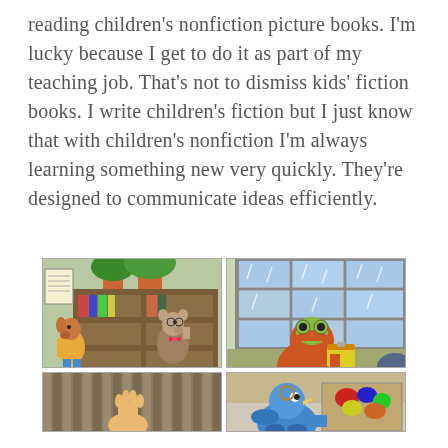reading children's nonfiction picture books. I'm lucky because I get to do it as part of my teaching job. That's not to dismiss kids' fiction books. I write children's fiction but I just know that with children's nonfiction I'm always learning something new very quickly. They're designed to communicate ideas efficiently.
[Figure (illustration): Top-left comic panel: two animal characters (a dog in yellow and a mouse/rat in brown with bow tie) at a bookshelf with plants on top]
[Figure (illustration): Top-right comic panel: a frog character in an orange hoodie holding a yellow clipboard, standing in front of a large window with blue panes]
[Figure (illustration): Bottom-left comic panel: partially visible, appears to show a character with striped elements in background]
[Figure (illustration): Bottom-right comic panel: a blue bird-like character near boxes or containers with colorful items]